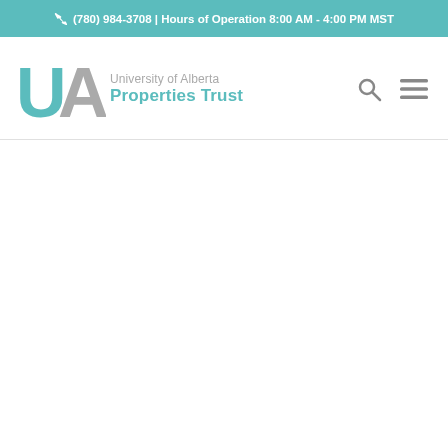(780) 984-3708 | Hours of Operation 8:00 AM - 4:00 PM MST
[Figure (logo): University of Alberta Properties Trust logo with teal UA monogram and text]
[Figure (other): Search icon (magnifying glass)]
[Figure (other): Hamburger menu icon (three horizontal lines)]